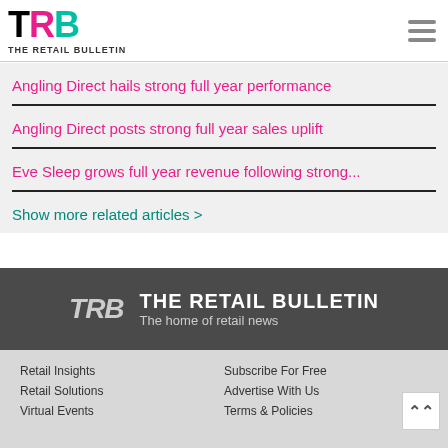THE RETAIL BULLETIN
Angling Direct hails strong full year performance
Angling Direct posts strong full year sales uplift
Eve Sleep grows full year revenue following strong...
Show more related articles >
TAGS
[Figure (logo): The Retail Bulletin logo with TRB letters and tagline 'The home of retail news']
Retail Insights | Retail Solutions | Virtual Events | Subscribe For Free | Advertise With Us | Terms & Policies